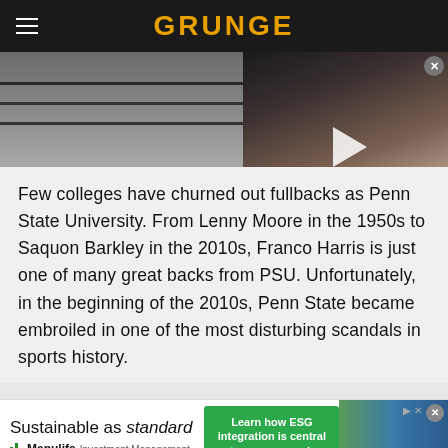GRUNGE
[Figure (photo): Hero image showing people at what appears to be a stadium or bleachers, dark tones, with an overlaid video thumbnail showing a person's face with a play button]
Few colleges have churned out fullbacks as Penn State University. From Lenny Moore in the 1950s to Saquon Barkley in the 2010s, Franco Harris is just one of many great backs from PSU. Unfortunately, in the beginning of the 2010s, Penn State became embroiled in one of the most disturbing scandals in sports history.
[Figure (photo): Advertisement banner: Sustainable as standard — Learn how ESG integration is central to our approach — Manulife Investment Management]